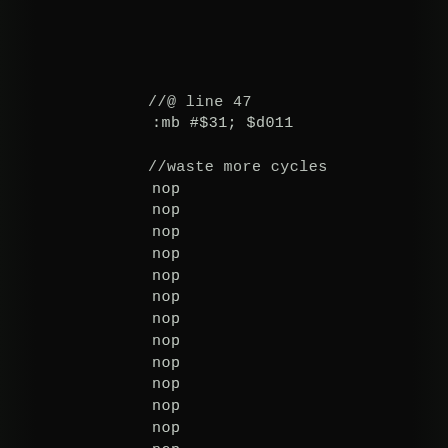//@ line 47
:mb #$31; $d011
//waste more cycles
nop
nop
nop
nop
nop
nop
nop
nop
nop
nop
nop
nop
nop
nop
nop